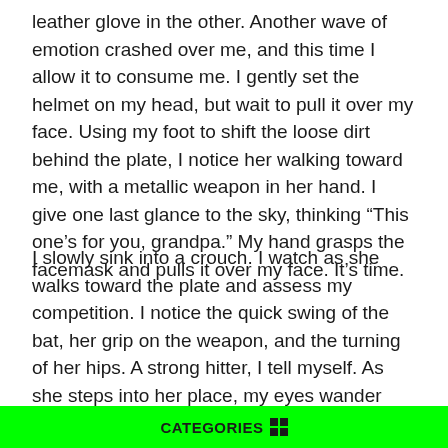leather glove in the other. Another wave of emotion crashed over me, and this time I allow it to consume me. I gently set the helmet on my head, but wait to pull it over my face. Using my foot to shift the loose dirt behind the plate, I notice her walking toward me, with a metallic weapon in her hand. I give one last glance to the sky, thinking “This one’s for you, grandpa.” My hand grasps the facemask and pulls it over my face. It’s time.
I slowly sink into a crouch. I watch as she walks toward the plate and assess my competition. I notice the quick swing of the bat, her grip on the weapon, and the turning of her hips. A strong hitter, I tell myself. As she steps into her place, my eyes wander across the field for the last time. I take note of where each fielder is and smile because everyone is where they need to be. My eyes settle on the pitcher and wait for the go ahead. When I receive it, I make my first call. I decide to have the first one down the middle. The pitcher starts her windup, and my eyes narrow on the ball. For some reason, sound becomes
CATEGORIES